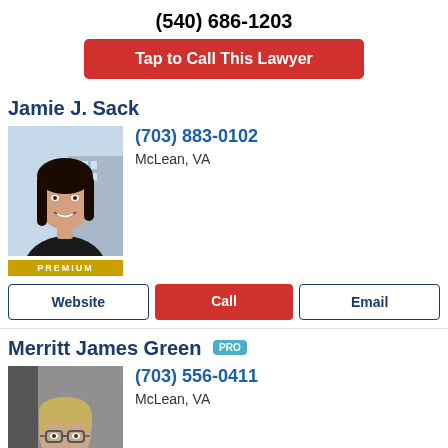(540) 686-1203
Tap to Call This Lawyer
Jamie J. Sack
[Figure (photo): Professional headshot of Jamie J. Sack, a woman with dark hair, smiling, with a city building background. PREMIUM badge below.]
(703) 883-0102
McLean, VA
Website
Call
Email
Merritt James Green PRO
[Figure (photo): Professional headshot of Merritt James Green, a middle-aged man with blonde hair and glasses, wearing a dark suit. PREMIUM badge below.]
(703) 556-0411
McLean, VA